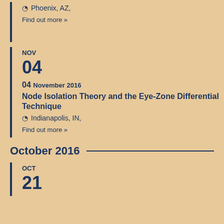Phoenix, AZ,
Find out more »
NOV
04
04 November 2016
Node Isolation Theory and the Eye-Zone Differential Technique
Indianapolis, IN,
Find out more »
October 2016
OCT
21